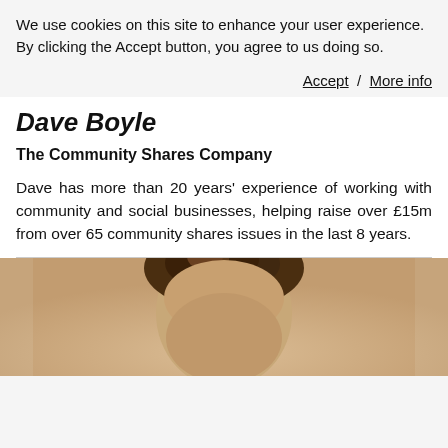We use cookies on this site to enhance your user experience. By clicking the Accept button, you agree to us doing so.
Accept / More info
Dave Boyle
The Community Shares Company
Dave has more than 20 years' experience of working with community and social businesses, helping raise over £15m from over 65 community shares issues in the last 8 years.
[Figure (photo): Portrait photo of Dave Boyle, showing head and upper body, with brown curly hair, against a light background.]